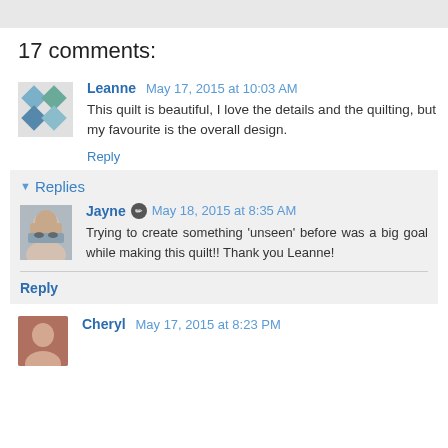17 comments:
Leanne May 17, 2015 at 10:03 AM
This quilt is beautiful, I love the details and the quilting, but my favourite is the overall design.
Reply
Replies
Jayne May 18, 2015 at 8:35 AM
Trying to create something 'unseen' before was a big goal while making this quilt!! Thank you Leanne!
Reply
Cheryl May 17, 2015 at 8:23 PM